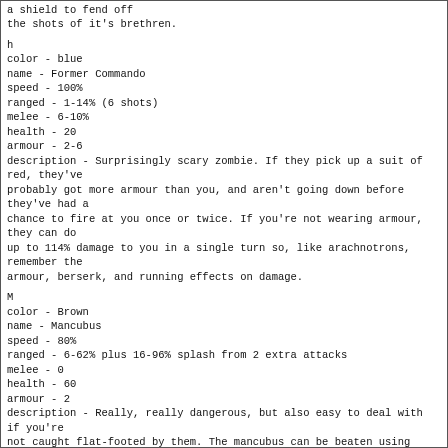a shield to fend off
the shots of it's brethren.
h
color - blue
name - Former Commando
speed - 100%
ranged - 1-14% (6 shots)
melee - 6-10%
health - 20
armour - 2-6
description - Surprisingly scary zombie. If they pick up a suit of red, they've
probably got more armour than you, and aren't going down before they've had a
chance to fire at you once or twice. If you're not wearing armour, they can do
up to 114% damage to you in a single turn so, like arachnotrons, remember the
armour, berserk, and running effects on damage.
M
color - Brown
name - Mancubus
speed - 80%
ranged - 6-62% plus 16-96% splash from 2 extra attacks
melee - 0
health - 60
armour - 2
description - Really, really dangerous, but also easy to deal with if you're
not caught flat-footed by them. The mancubus can be beaten using tactical
defense (but watch out - one screw-up and your defensive wall is gone). It can
also be killed by hugging it at point blank range (just be careful not to knock
it away with shotguns).
The bad news, of course, is that if one fires at you when your back is to a
wall, you'd better be wearing some strong armour, because
you're gonna lose it.